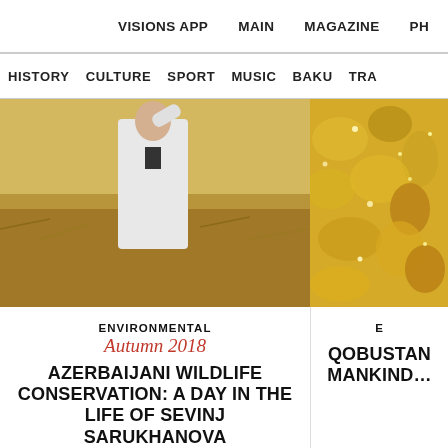VISIONS APP   MAIN   MAGAZINE   PH…
HISTORY   CULTURE   SPORT   MUSIC   BAKU   TRA…
[Figure (photo): Person in white clothing standing in a dry golden field, raising one hand]
[Figure (photo): Close-up of golden/yellow rocky mineral surface]
ENVIRONMENTAL
Autumn 2018
AZERBAIJANI WILDLIFE CONSERVATION: A DAY IN THE LIFE OF SEVINJ SARUKHANOVA
BY DAVID MAXIMOVICH
E…
QOBUSTAN MANKIND…